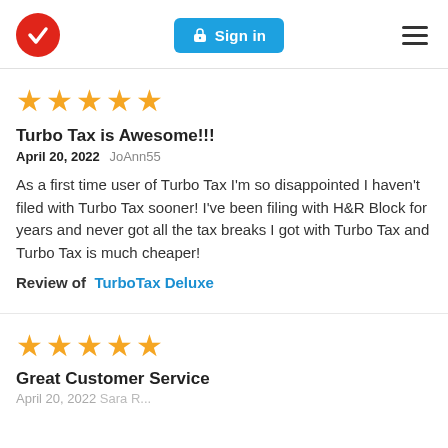TurboTax logo | Sign in | Menu
★★★★★
Turbo Tax is Awesome!!!
April 20, 2022 JoAnn55
As a first time user of Turbo Tax I'm so disappointed I haven't filed with Turbo Tax sooner! I've been filing with H&R Block for years and never got all the tax breaks I got with Turbo Tax and Turbo Tax is much cheaper!
Review of TurboTax Deluxe
★★★★★
Great Customer Service